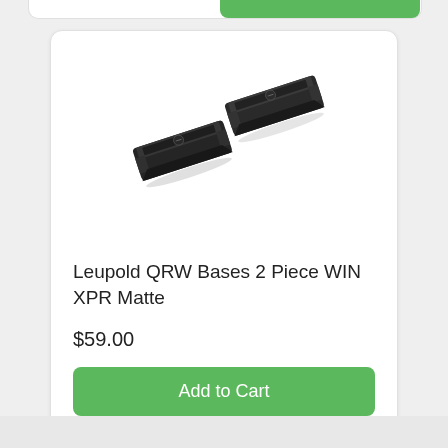[Figure (photo): Two black rifle scope mount bases (Leupold QRW 2-piece style), shown at an angle on white background]
Leupold QRW Bases 2 Piece WIN XPR Matte
$59.00
Add to Cart